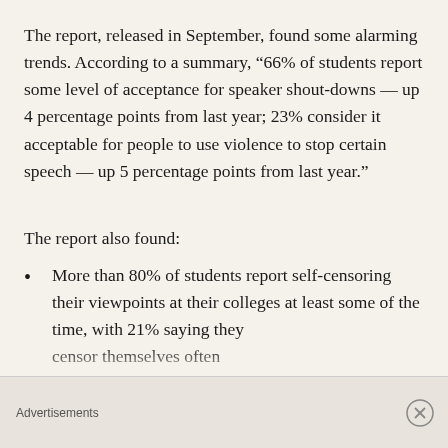The report, released in September, found some alarming trends. According to a summary, “66% of students report some level of acceptance for speaker shout-downs — up 4 percentage points from last year; 23% consider it acceptable for people to use violence to stop certain speech — up 5 percentage points from last year.”
The report also found:
More than 80% of students report self-censoring their viewpoints at their colleges at least some of the time, with 21% saying they censor themselves often
Advertisements